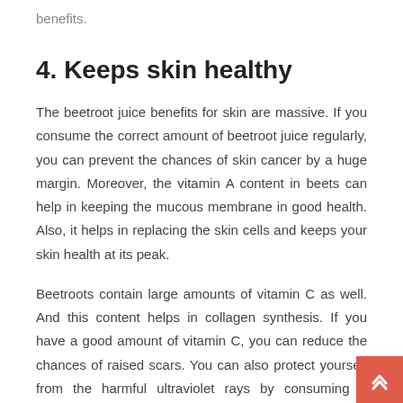benefits.
4. Keeps skin healthy
The beetroot juice benefits for skin are massive. If you consume the correct amount of beetroot juice regularly, you can prevent the chances of skin cancer by a huge margin. Moreover, the vitamin A content in beets can help in keeping the mucous membrane in good health. Also, it helps in replacing the skin cells and keeps your skin health at its peak.
Beetroots contain large amounts of vitamin C as well. And this content helps in collagen synthesis. If you have a good amount of vitamin C, you can reduce the chances of raised scars. You can also protect yourself from the harmful ultraviolet rays by consuming a sufficient amount of vita…